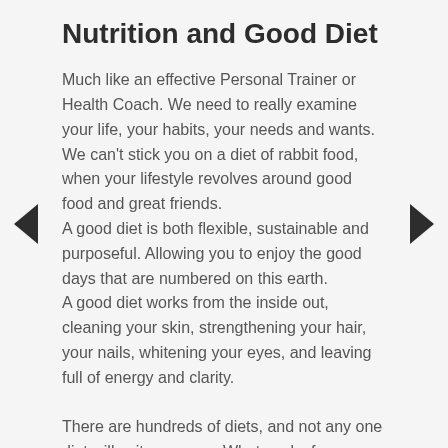Nutrition and Good Diet
Much like an effective Personal Trainer or Health Coach. We need to really examine your life, your habits, your needs and wants. We can't stick you on a diet of rabbit food, when your lifestyle revolves around good food and great friends.
A good diet is both flexible, sustainable and purposeful. Allowing you to enjoy the good days that are numbered on this earth.
A good diet works from the inside out, cleaning your skin, strengthening your hair, your nails, whitening your eyes, and leaving full of energy and clarity.

There are hundreds of diets, and not any one diet will suit everyone. What works for you depends on your strengths and weaknesses.
I for example have a sweet tooth, but if the packet is in opened, I can resist (most of the time:)